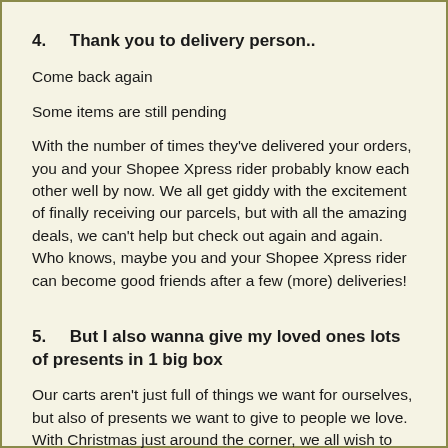4.    Thank you to delivery person..
Come back again
Some items are still pending
With the number of times they’ve delivered your orders, you and your Shopee Xpress rider probably know each other well by now. We all get giddy with the excitement of finally receiving our parcels, but with all the amazing deals, we can't help but check out again and again. Who knows, maybe you and your Shopee Xpress rider can become good friends after a few (more) deliveries!
5.    But I also wanna give my loved ones lots of presents in 1 big box
Our carts aren’t just full of things we want for ourselves, but also of presents we want to give to people we love. With Christmas just around the corner, we all wish to show our